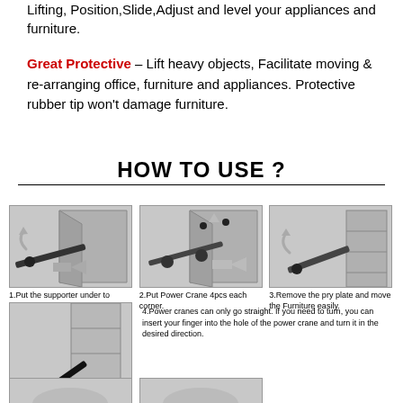Lifting, Position,Slide,Adjust and level your appliances and furniture.
Great Protective - Lift heavy objects, Facilitate moving & re-arranging office, furniture and appliances. Protective rubber tip won't damage furniture.
HOW TO USE ?
[Figure (illustration): Step 1: Diagram showing a support/pry tool being inserted under furniture corner and lifting it up, with a curved arrow and forward arrow.]
1.Put the supporter under to furniture and lift it up.
[Figure (illustration): Step 2: Diagram showing Power Crane discs being placed at each corner under the furniture.]
2.Put Power Crane 4pcs each corner.
[Figure (illustration): Step 3: Diagram showing removal of pry plate and moving furniture easily with a curved arrow.]
3.Remove the pry plate and move the Furniture easily.
[Figure (illustration): Step 4: Diagram showing furniture on power crane discs at corner with a red curved turn arrow.]
4.Power cranes can only go straight. If you need to turn, you can insert your finger into the hole of the power crane and turn it in the desired direction.
[Figure (illustration): Step 5: Diagram showing additional usage step (partially visible at bottom).]
[Figure (illustration): Step 6: Diagram showing additional usage step (partially visible at bottom).]